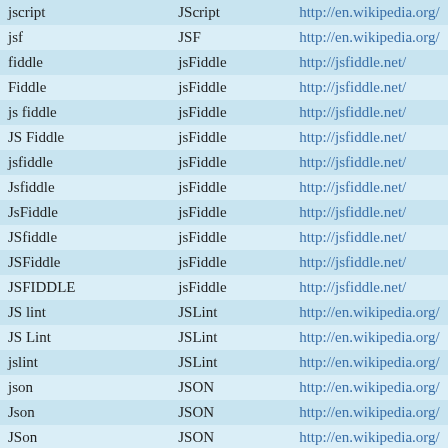|  |  |  |
| --- | --- | --- |
| jscript | JScript | http://en.wikipedia.org/ |
| jsf | JSF | http://en.wikipedia.org/ |
| fiddle | jsFiddle | http://jsfiddle.net/ |
| Fiddle | jsFiddle | http://jsfiddle.net/ |
| js fiddle | jsFiddle | http://jsfiddle.net/ |
| JS Fiddle | jsFiddle | http://jsfiddle.net/ |
| jsfiddle | jsFiddle | http://jsfiddle.net/ |
| Jsfiddle | jsFiddle | http://jsfiddle.net/ |
| JsFiddle | jsFiddle | http://jsfiddle.net/ |
| JSfiddle | jsFiddle | http://jsfiddle.net/ |
| JSFiddle | jsFiddle | http://jsfiddle.net/ |
| JSFIDDLE | jsFiddle | http://jsfiddle.net/ |
| JS lint | JSLint | http://en.wikipedia.org/ |
| JS Lint | JSLint | http://en.wikipedia.org/ |
| jslint | JSLint | http://en.wikipedia.org/ |
| json | JSON | http://en.wikipedia.org/ |
| Json | JSON | http://en.wikipedia.org/ |
| JSon | JSON | http://en.wikipedia.org/ |
| jsonp | JSONP | http://en.wikipedia.org/ |
| JSON-P | JSONP | http://en.wikipedia.org/ |
| jsp | JSP | http://en.wikipedia.org/ |